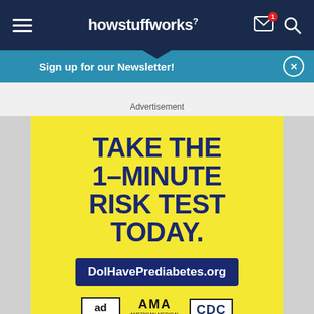howstuffworks
Sign up for our Newsletter!
Advertisement
[Figure (infographic): Yellow advertisement banner reading 'TAKE THE 1-MINUTE RISK TEST TODAY.' with a dark blue URL box containing 'DoIHavePrediabetes.org' and logos for Ad Council, AMA, and CDC at the bottom.]